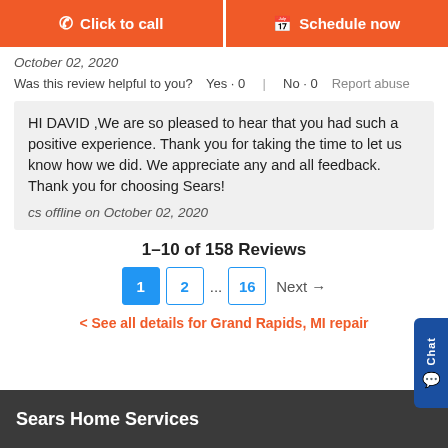[Figure (other): Two orange CTA buttons: 'Click to call' and 'Schedule now']
October 02, 2020
Was this review helpful to you?  Yes · 0  |  No · 0  Report abuse
HI DAVID ,We are so pleased to hear that you had such a positive experience. Thank you for taking the time to let us know how we did. We appreciate any and all feedback. Thank you for choosing Sears!

cs offline on October 02, 2020
1–10 of 158 Reviews
1  2  ...  16  Next →
< See all details for Grand Rapids, MI repair
Sears Home Services